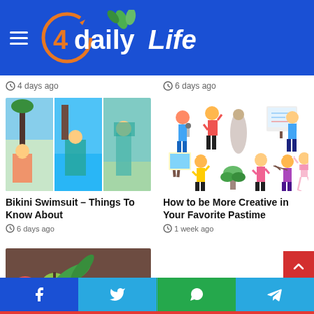4dailyLife
4 days ago
6 days ago
[Figure (photo): Three images of women in swimsuits at beach/pool]
Bikini Swimsuit – Things To Know About
6 days ago
[Figure (illustration): Illustration of people doing various creative activities: singing, sculpting, painting, playing violin, dancing ballet]
How to be More Creative in Your Favorite Pastime
1 week ago
[Figure (photo): Colorful fresh fruits, vegetables, and spices spread out on a surface]